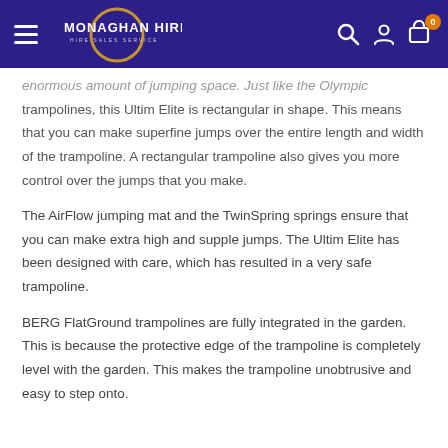Monaghan Hire — site navigation header
enormous amount of jumping space. Just like the Olympic trampolines, this Ultim Elite is rectangular in shape. This means that you can make superfine jumps over the entire length and width of the trampoline. A rectangular trampoline also gives you more control over the jumps that you make.
The AirFlow jumping mat and the TwinSpring springs ensure that you can make extra high and supple jumps. The Ultim Elite has been designed with care, which has resulted in a very safe trampoline.
BERG FlatGround trampolines are fully integrated in the garden. This is because the protective edge of the trampoline is completely level with the garden. This makes the trampoline unobtrusive and easy to step onto.